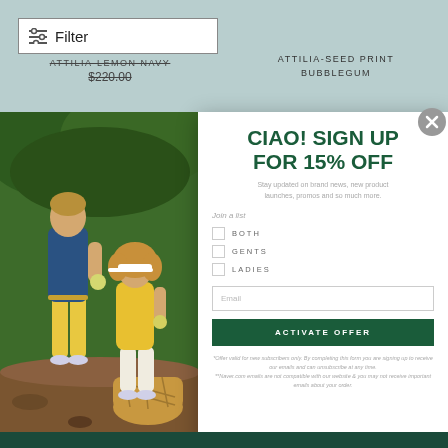Filter
ATTILIA-LEMON NAVY
$220.00
ATTILIA-SEED PRINT BUBBLEGUM
[Figure (photo): Two people in golf/casual wear outdoors near trees. Man in blue polo and yellow shorts, woman in yellow top with white visor holding a wicker basket.]
CIAO! SIGN UP FOR 15% OFF
Stay updated on brand news, new product launches, promos and so much more.
Join a list
BOTH
GENTS
LADIES
Email
ACTIVATE OFFER
*Offer valid for new subscribers only. By completing this form you are signing up to receive our emails and can unsubscribe at any time. **Naver.com emails are not compatible with our website & you may not receive important emails about your order.